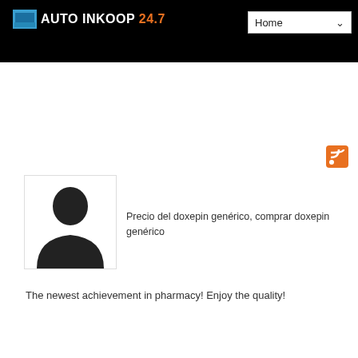AUTO INKOOP 24.7
[Figure (logo): AUTO INKOOP 24.7 logo with blue car icon and orange/white text on black bar]
[Figure (illustration): RSS feed icon, orange square with white RSS symbol]
[Figure (photo): Silhouette of a person (anonymous avatar), white background with dark grey silhouette]
Precio del doxepin genérico, comprar doxepin genérico
The newest achievement in pharmacy! Enjoy the quality!